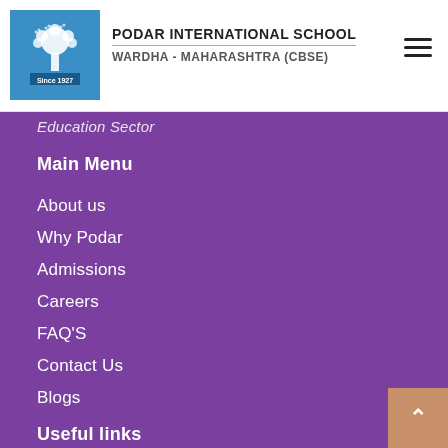PODAR INTERNATIONAL SCHOOL WARDHA - MAHARASHTRA (CBSE)
Education Sector
Main Menu
About us
Why Podar
Admissions
Careers
FAQ'S
Contact Us
Blogs
Useful links